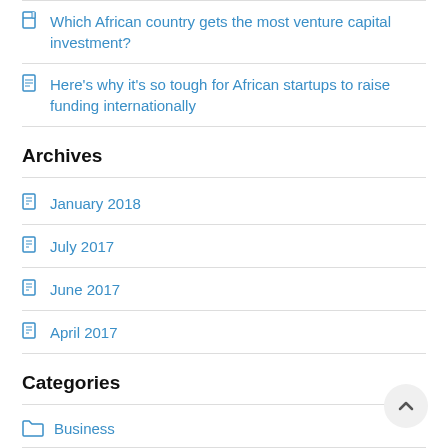Which African country gets the most venture capital investment?
Here's why it's so tough for African startups to raise funding internationally
Archives
January 2018
July 2017
June 2017
April 2017
Categories
Business
Elevator Pitch